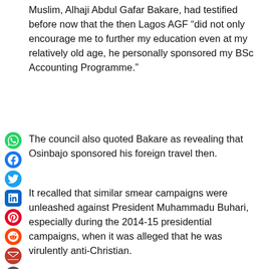Muslim, Alhaji Abdul Gafar Bakare, had testified before now that the then Lagos AGF “did not only encourage me to further my education even at my relatively old age, he personally sponsored my BSc Accounting Programme.”
The council also quoted Bakare as revealing that Osinbajo sponsored his foreign travel then.
It recalled that similar smear campaigns were unleashed against President Muhammadu Buhari, especially during the 2014-15 presidential campaigns, when it was alleged that he was virulently anti-Christian.